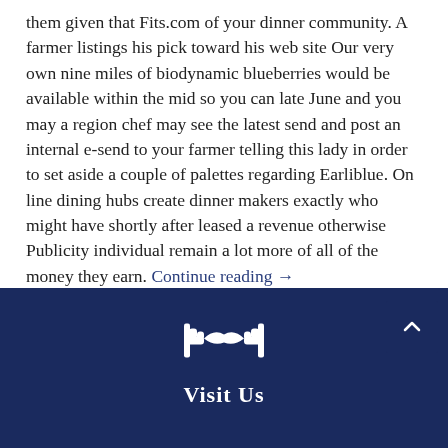them given that Fits.com of your dinner community. A farmer listings his pick toward his web site Our very own nine miles of biodynamic blueberries would be available within the mid so you can late June and you may a region chef may see the latest send and post an internal e-send to your farmer telling this lady in order to set aside a couple of palettes regarding Earliblue. On line dining hubs create dinner makers exactly who might have shortly after leased a revenue otherwise Publicity individual remain a lot more of all of the money they earn. Continue reading →
Posted in arlington escort service near me
[Figure (logo): White handshake icon on dark navy background]
Visit Us